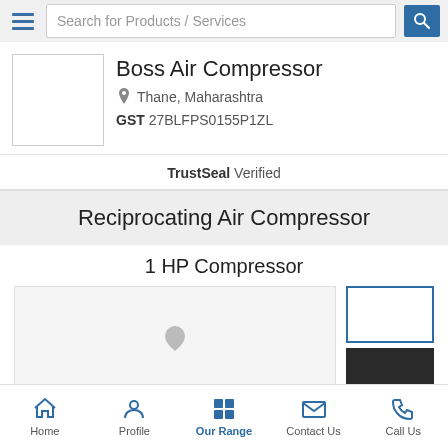Search for Products / Services
Boss Air Compressor
Thane, Maharashtra
GST 27BLFPS0155P1ZL
TrustSeal Verified
Reciprocating Air Compressor
1 HP Compressor
[Figure (photo): Product image area showing 1 HP Compressor with thumbnail images on the right]
Home | Profile | Our Range | Contact Us | Call Us